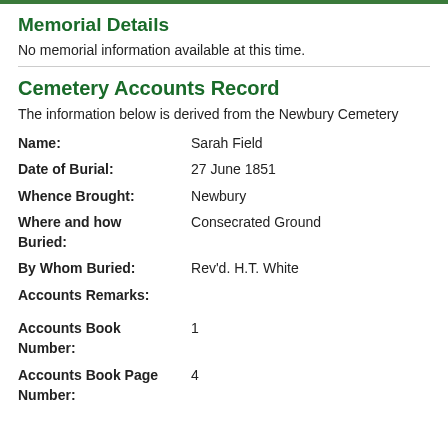Memorial Details
No memorial information available at this time.
Cemetery Accounts Record
The information below is derived from the Newbury Cemetery
| Field | Value |
| --- | --- |
| Name: | Sarah Field |
| Date of Burial: | 27 June 1851 |
| Whence Brought: | Newbury |
| Where and how Buried: | Consecrated Ground |
| By Whom Buried: | Rev'd. H.T. White |
| Accounts Remarks: |  |
| Accounts Book Number: | 1 |
| Accounts Book Page Number: | 4 |